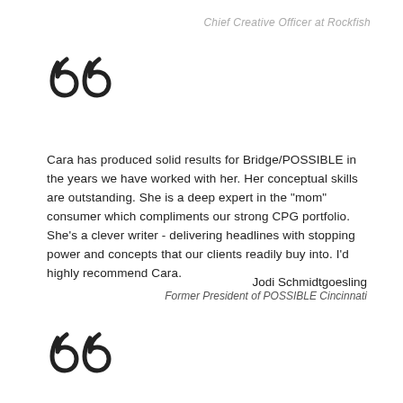Chief Creative Officer at Rockfish
[Figure (illustration): Large decorative open quotation marks in outline style, top of page]
Cara has produced solid results for Bridge/POSSIBLE in the years we have worked with her. Her conceptual skills are outstanding. She is a deep expert in the "mom" consumer which compliments our strong CPG portfolio. She's a clever writer - delivering headlines with stopping power and concepts that our clients readily buy into. I'd highly recommend Cara.
Jodi Schmidtgoesling
Former President of POSSIBLE Cincinnati
[Figure (illustration): Large decorative open quotation marks in outline style, bottom of page]